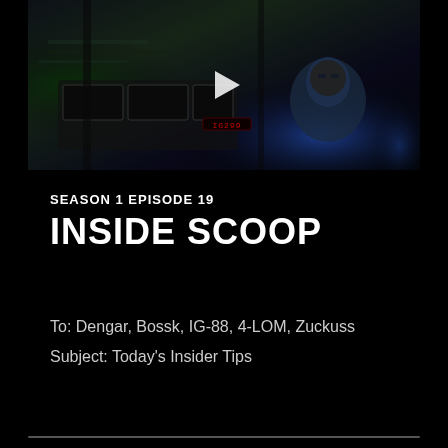[Figure (screenshot): Dark video thumbnail showing a cockpit scene with stormtrooper, red LED display reading IG299, blue glow, and a play button overlay]
SEASON 1 EPISODE 19
INSIDE SCOOP
To: Dengar, Bossk, IG-88, 4-LOM, Zuckuss
Subject: Today's Insider Tips